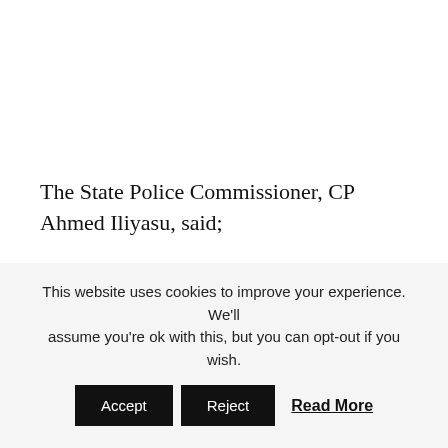The State Police Commissioner, CP Ahmed Iliyasu, said;
“On interrogation, the suspect admitted taking the
This website uses cookies to improve your experience. We'll assume you're ok with this, but you can opt-out if you wish.
Accept  Reject  Read More